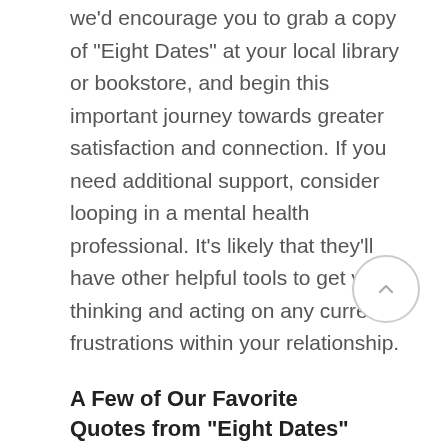we'd encourage you to grab a copy of "Eight Dates" at your local library or bookstore, and begin this important journey towards greater satisfaction and connection. If you need additional support, consider looping in a mental health professional. It's likely that they'll have other helpful tools to get you thinking and acting on any current frustrations within your relationship.
A Few of Our Favorite Quotes from "Eight Dates"
"Successful long-term relationships are created through small words, small gestures, and small acts."